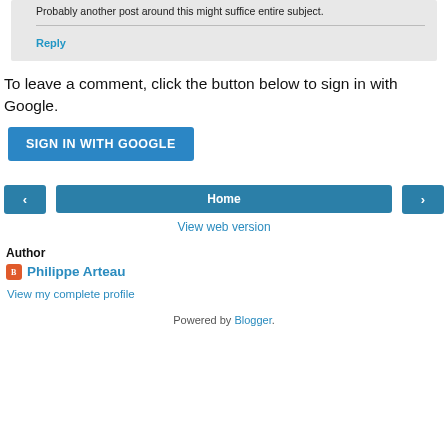Probably another post around this might suffice entire subject.
Reply
To leave a comment, click the button below to sign in with Google.
[Figure (other): SIGN IN WITH GOOGLE button (blue rounded rectangle)]
[Figure (other): Navigation bar with left arrow, Home button, and right arrow]
View web version
Author
Philippe Arteau
View my complete profile
Powered by Blogger.